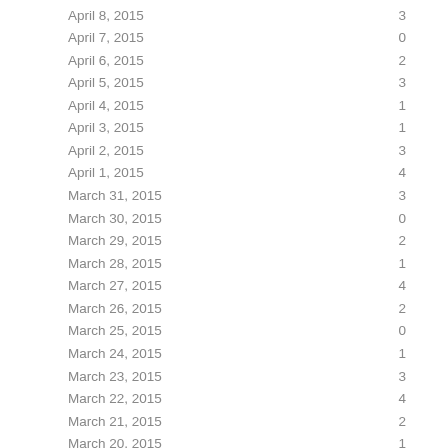| Date | Value |
| --- | --- |
| April 8, 2015 | 3 |
| April 7, 2015 | 0 |
| April 6, 2015 | 2 |
| April 5, 2015 | 3 |
| April 4, 2015 | 1 |
| April 3, 2015 | 1 |
| April 2, 2015 | 3 |
| April 1, 2015 | 4 |
| March 31, 2015 | 3 |
| March 30, 2015 | 0 |
| March 29, 2015 | 2 |
| March 28, 2015 | 1 |
| March 27, 2015 | 4 |
| March 26, 2015 | 2 |
| March 25, 2015 | 0 |
| March 24, 2015 | 1 |
| March 23, 2015 | 3 |
| March 22, 2015 | 4 |
| March 21, 2015 | 2 |
| March 20, 2015 | 1 |
| March 19, 2015 | 3 |
| March 18, 2015 | 4 |
| March 17, 2015 | 0 |